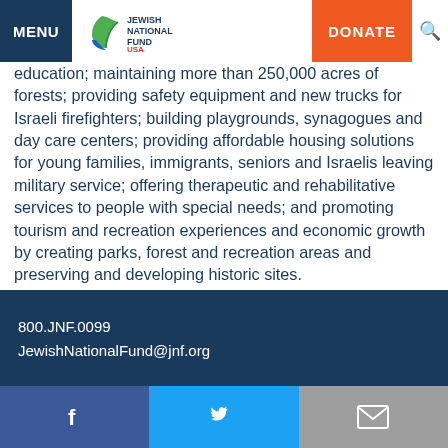MENU | Jewish National Fund USA | DONATE
education; maintaining more than 250,000 acres of forests; providing safety equipment and new trucks for Israeli firefighters; building playgrounds, synagogues and day care centers; providing affordable housing solutions for young families, immigrants, seniors and Israelis leaving military service; offering therapeutic and rehabilitative services to people with special needs; and promoting tourism and recreation experiences and economic growth by creating parks, forest and recreation areas and preserving and developing historic sites.
CALL NOW 800.JNF.0099
800.JNF.0099
JewishNationalFund@jnf.org